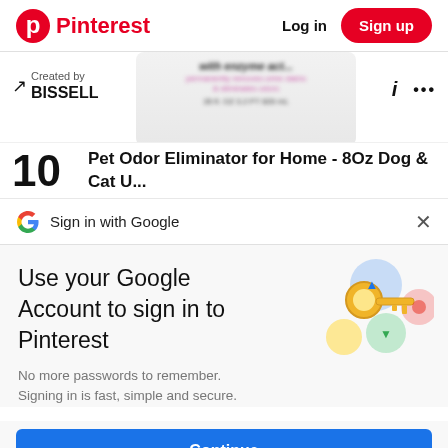Pinterest — Log in | Sign up
[Figure (screenshot): Partial product image of a white container with enzyme cleaner label text visible, blurred]
Created by BISSELL
10  Pet Odor Eliminator for Home - 8Oz Dog &
Sign in with Google
Use your Google Account to sign in to Pinterest
No more passwords to remember. Signing in is fast, simple and secure.
[Figure (illustration): Google key illustration showing a golden key with colorful circular accent icons]
Continue